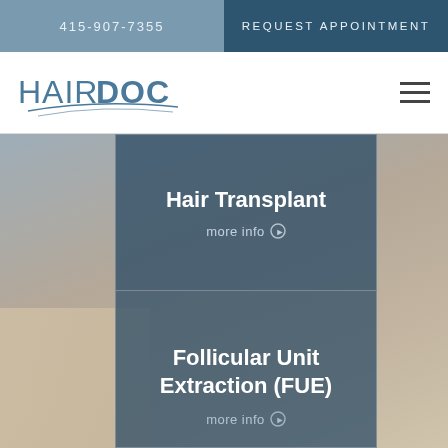415-907-7355
REQUEST APPOINTMENT
[Figure (logo): HairDoc logo with stylized swoosh lines]
Hair Transplant
more info
Follicular Unit Extraction (FUE)
more info